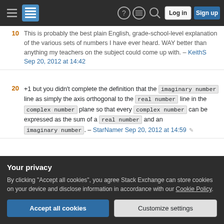[Figure (screenshot): Stack Exchange navigation bar with hamburger menu, logo, help icon, inbox icon, search icon, Log in button, Sign up button]
This is probably the best plain-English, grade-school-level explanation of the various sets of numbers I have ever heard. WAY better than anything my teachers on the subject could come up with. – KeithS Sep 20, 2012 at 14:42
+1 but you didn't complete the definition that the imaginary number line as simply the axis orthogonal to the real number line in the complex number plane so that every complex number can be expressed as the sum of a real number and an imaginary number. – StarNamer Sep 20, 2012 at 14:59
Excellent explanation! The first time I've seen the analogy... 7:12
Your privacy
By clicking "Accept all cookies", you agree Stack Exchange can store cookies on your device and disclose information in accordance with our Cookie Policy.
Accept all cookies  Customize settings